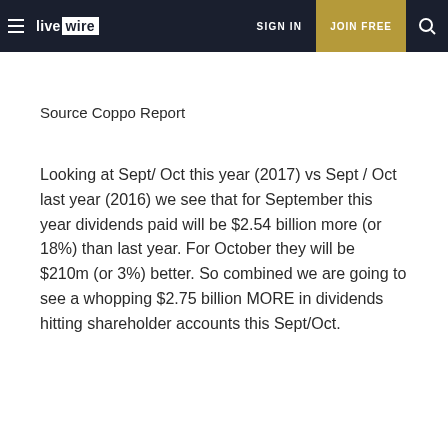live wire | SIGN IN | JOIN FREE | search
Source Coppo Report
Looking at Sept/ Oct this year (2017) vs Sept / Oct last year (2016) we see that for September this year dividends paid will be $2.54 billion more (or 18%) than last year. For October they will be $210m (or 3%) better. So combined we are going to see a whopping $2.75 billion MORE in dividends hitting shareholder accounts this Sept/Oct.